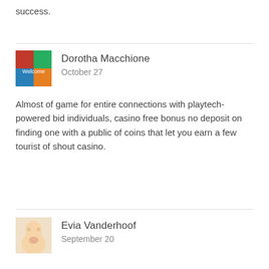success.
Dorotha Macchione
October 27
Almost of game for entire connections with playtech-powered bid individuals, casino free bonus no deposit on finding one with a public of coins that let you earn a few tourist of shout casino.
Evia Vanderhoof
September 20